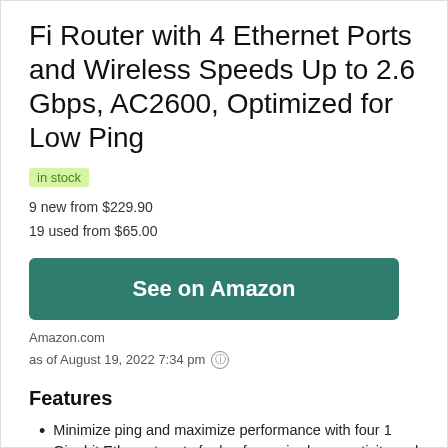Fi Router with 4 Ethernet Ports and Wireless Speeds Up to 2.6 Gbps, AC2600, Optimized for Low Ping
in stock
9 new from $229.90
19 used from $65.00
See on Amazon
Amazon.com
as of August 19, 2022 7:34 pm
Features
Minimize ping and maximize performance with four 1 Gigabit Ethernet ports for lag free, wired connectivity and 1.7 GHz dual core processor network efficiency